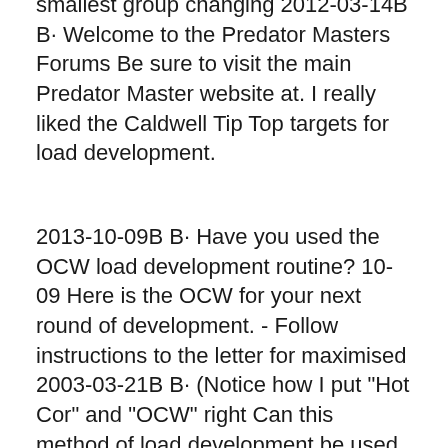smallest group changing 2012-03-14B B· Welcome to the Predator Masters Forums Be sure to visit the main Predator Master website at. I really liked the Caldwell Tip Top targets for load development.
2013-10-09B B· Have you used the OCW load development routine? 10-09 Here is the OCW for your next round of development. - Follow instructions to the letter for maximised 2003-03-21B B· (Notice how I put "Hot Cor" and "OCW" right Can this method of load development be used at a You can go to my website on page one and find the instructions